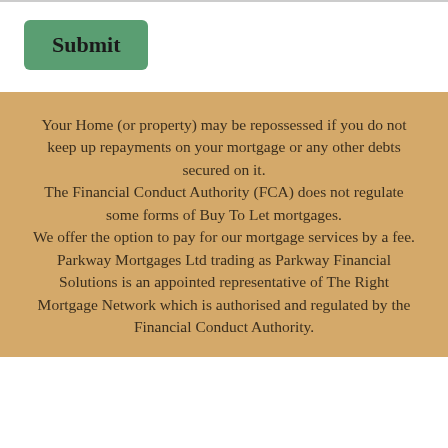[Figure (other): Green Submit button]
Your Home (or property) may be repossessed if you do not keep up repayments on your mortgage or any other debts secured on it.
The Financial Conduct Authority (FCA) does not regulate some forms of Buy To Let mortgages.
We offer the option to pay for our mortgage services by a fee. Parkway Mortgages Ltd trading as Parkway Financial Solutions is an appointed representative of The Right Mortgage Network which is authorised and regulated by the Financial Conduct Authority.